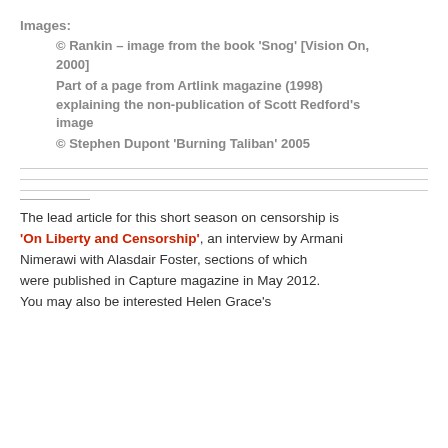Images:
© Rankin – image from the book 'Snog' [Vision On, 2000]
Part of a page from Artlink magazine (1998) explaining the non-publication of Scott Redford's image
© Stephen Dupont 'Burning Taliban' 2005
The lead article for this short season on censorship is 'On Liberty and Censorship', an interview by Armani Nimerawi with Alasdair Foster, sections of which were published in Capture magazine in May 2012. You may also be interested Helen Grace's